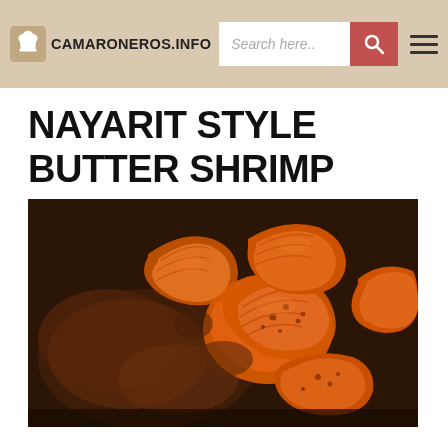CAMARONEROS.INFO
NAYARIT STYLE BUTTER SHRIMP
[Figure (photo): Close-up photo of Nayarit style butter shrimp cooked in a dark chili-butter sauce in a pan, showing seasoned shrimp curled and glistening with spices.]